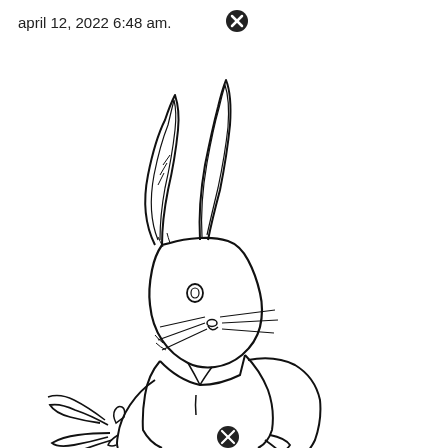april 12, 2022 6:48 am.
[Figure (illustration): Line drawing illustration of a rabbit (Peter Rabbit style) wearing a jacket, eating a carrot/vegetable, with long ears, whiskers, and a fluffy tail. Black and white outline drawing on white background. A circular close/delete button icon appears at the bottom center of the illustration.]